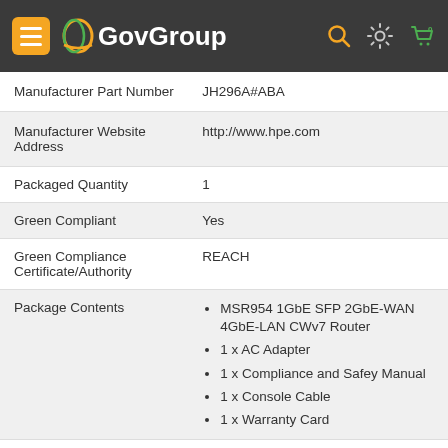GovGroup
| Field | Value |
| --- | --- |
| Manufacturer Part Number | JH296A#ABA |
| Manufacturer Website Address | http://www.hpe.com |
| Packaged Quantity | 1 |
| Green Compliant | Yes |
| Green Compliance Certificate/Authority | REACH |
| Package Contents | MSR954 1GbE SFP 2GbE-WAN 4GbE-LAN CWv7 Router; 1 x AC Adapter; 1 x Compliance and Safey Manual; 1 x Console Cable; 1 x Warranty Card |